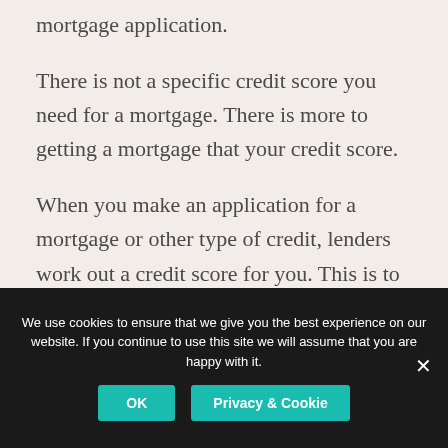mortgage application.
There is not a specific credit score you need for a mortgage. There is more to getting a mortgage that your credit score.
When you make an application for a mortgage or other type of credit, lenders work out a credit score for you. This is to help them decide if you will be a risk worth taking. The
We use cookies to ensure that we give you the best experience on our website. If you continue to use this site we will assume that you are happy with it.